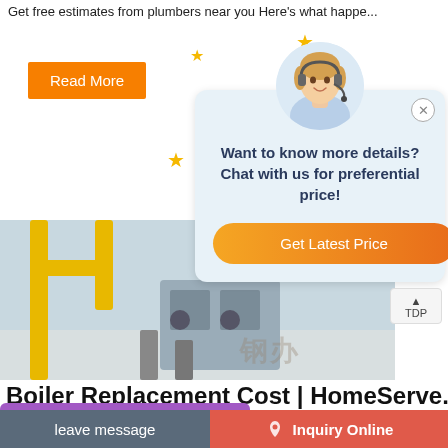Get free estimates from plumbers near you Here's what happe...
[Figure (screenshot): Orange 'Read More' button on left, chat popup overlay with avatar of woman with headset, stars decoration, text 'Want to know more details? Chat with us for preferential price!' and orange 'Get Latest Price' button. Background shows boiler/industrial equipment photo.]
Boiler Replacement Cost | HomeServe...
[Figure (screenshot): Purple WhatsApp 'Save Stickers on WhatsApp' banner with WhatsApp and emoji icons]
cement Costs at a Glance. Average boiler
cost: $1,500 to $4,400. Boiler pri... $0,700–$7,700
[Figure (screenshot): Gray 'leave message' button on bottom left and red 'Inquiry Online' button with droplet icon on bottom right]